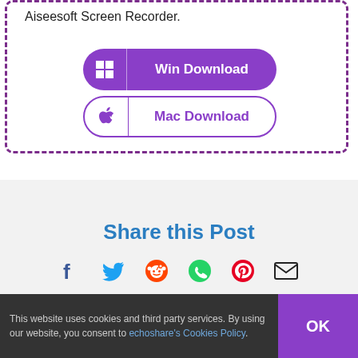Aiseesoft Screen Recorder.
[Figure (screenshot): Win Download button (purple rounded rectangle with Windows icon)]
[Figure (screenshot): Mac Download button (white rounded rectangle with Apple icon, purple border)]
Share this Post
[Figure (infographic): Social share icons: Facebook, Twitter, Reddit, WhatsApp, Pinterest, Email]
This website uses cookies and third party services. By using our website, you consent to echoshare's Cookies Policy.